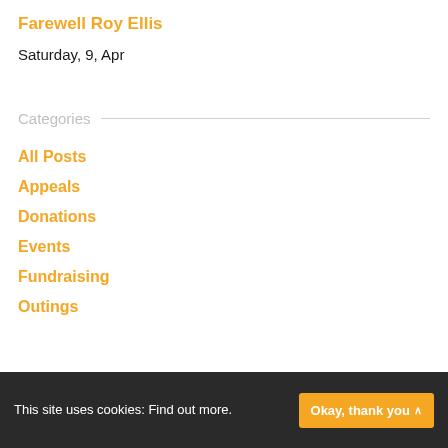Farewell Roy Ellis
Saturday, 9, Apr
Categories
All Posts
Appeals
Donations
Events
Fundraising
Outings
This site uses cookies: Find out more. Okay, thank you